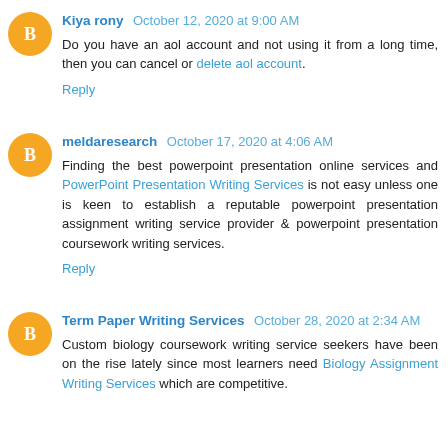Kiya rony October 12, 2020 at 9:00 AM
Do you have an aol account and not using it from a long time, then you can cancel or delete aol account.
Reply
meldaresearch October 17, 2020 at 4:06 AM
Finding the best powerpoint presentation online services and PowerPoint Presentation Writing Services is not easy unless one is keen to establish a reputable powerpoint presentation assignment writing service provider & powerpoint presentation coursework writing services.
Reply
Term Paper Writing Services October 28, 2020 at 2:34 AM
Custom biology coursework writing service seekers have been on the rise lately since most learners need Biology Assignment Writing Services which are competitive.